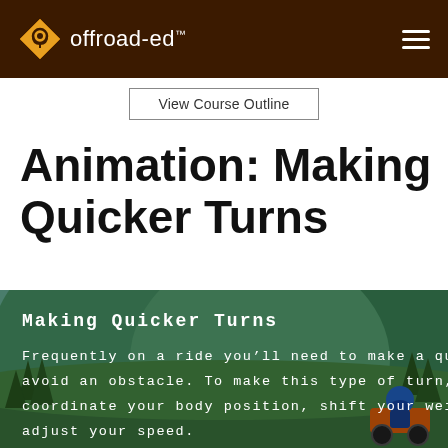offroad-ed™
View Course Outline
Animation: Making Quicker Turns
[Figure (illustration): Animated screenshot from offroad-ed course showing a mountain trail scene with green hills and a rider on an ATV/dirt bike. Overlay text reads: 'Making Quicker Turns' and 'Frequently on a ride you'll need to make a qu... avoid an obstacle. To make this type of turn, coordinate your body position, shift your weig... adjust your speed.']